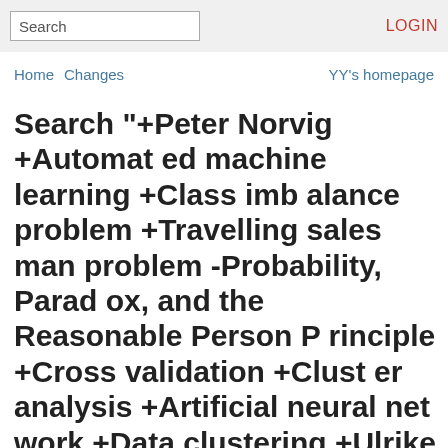Search | LOGIN
Home  Changes  YY's homepage
Search "+Peter Norvig +Automated machine learning +Class imbalance problem +Travelling salesman problem -Probability, Paradox, and the Reasonable Person Principle +Cross validation +Cluster analysis +Artificial neural network +Data clustering +Ulrike von Luxburg +Recommender system -Netflix prize +Brain network +Learning -Jupyter/notebook"